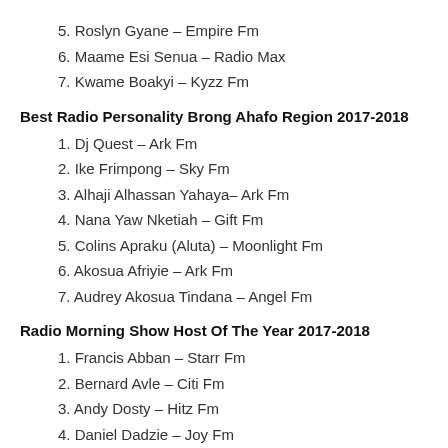5. Roslyn Gyane – Empire Fm
6. Maame Esi Senua – Radio Max
7. Kwame Boakyi – Kyzz Fm
Best Radio Personality Brong Ahafo Region 2017-2018
1. Dj Quest – Ark Fm
2. Ike Frimpong – Sky Fm
3. Alhaji Alhassan Yahaya– Ark Fm
4. Nana Yaw Nketiah – Gift Fm
5. Colins Apraku (Aluta) – Moonlight Fm
6. Akosua Afriyie – Ark Fm
7. Audrey Akosua Tindana – Angel Fm
Radio Morning Show Host Of The Year 2017-2018
1. Francis Abban – Starr Fm
2. Bernard Avle – Citi Fm
3. Andy Dosty – Hitz Fm
4. Daniel Dadzie – Joy Fm
5. Ekouba Gyasi – Atinka Fm
6. Kwesi Aboagye – Next Fm